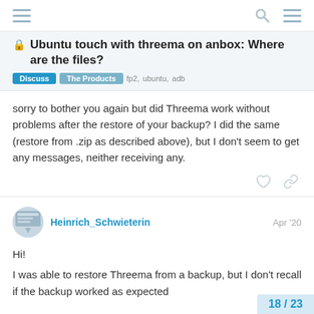Ubuntu touch with threema on anbox: Where are the files?
Ubuntu touch with threema on anbox: Where are the files?
Discuss  The Products  fp2, ubuntu, adb
sorry to bother you again but did Threema work without problems after the restore of your backup? I did the same (restore from .zip as described above), but I don't seem to get any messages, neither receiving any.
Heinrich_Schwieterin  Apr '20
Hi!
I was able to restore Threema from a backup, but I don't recall if the backup worked as expected
18 / 23